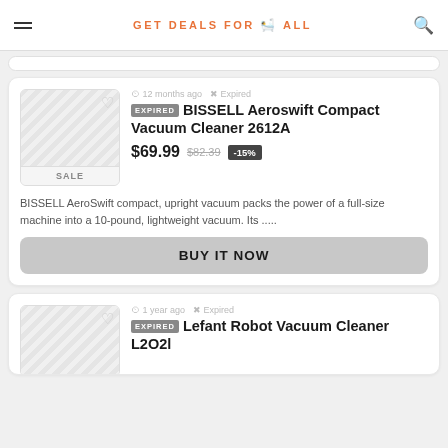GET DEALS FOR ALL
12 months ago  Expired
EXPIRED BISSELL Aeroswift Compact Vacuum Cleaner 2612A
$69.99  $82.39  -15%
BISSELL AeroSwift compact, upright vacuum packs the power of a full-size machine into a 10-pound, lightweight vacuum. Its .....
BUY IT NOW
1 year ago  Expired
EXPIRED Lefant Robot Vacuum Cleaner L2O2l...